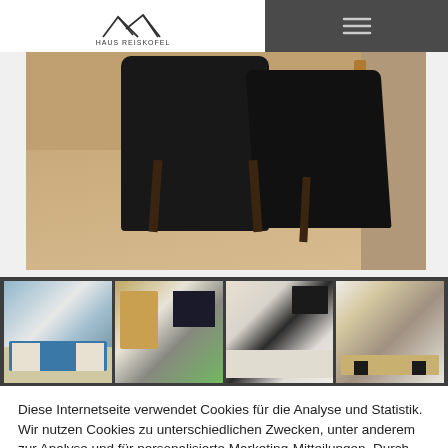[Figure (logo): Haus Reiskofel logo with mountain/triangle outline above text 'HAUS REISKOFEL']
[Figure (photo): Interior room photo showing black chairs and wooden floor]
[Figure (photo): Four thumbnail photos of apartment rooms: bedroom, living room/TV, kitchen, dining area]
Diese Internetseite verwendet Cookies für die Analyse und Statistik. Wir nutzen Cookies zu unterschiedlichen Zwecken, unter anderem zur Analyse und für personalisierte Marketing-Mitteilungen. Durch die weitere Nutzung der Website stimmen Sie der Verwendung zu. (+Extra Button zur Datenschutzsseite)
Cookie Settings
Accept